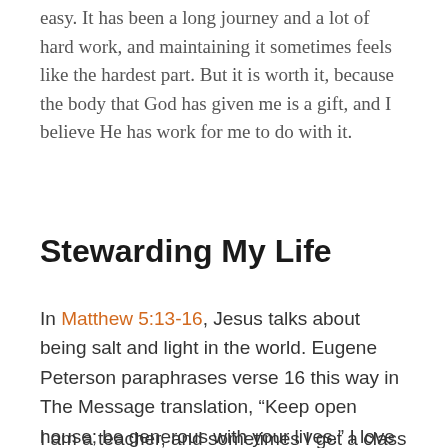easy. It has been a long journey and a lot of hard work, and maintaining it sometimes feels like the hardest part. But it is worth it, because the body that God has given me is a gift, and I believe He has work for me to do with it.
Stewarding My Life
In Matthew 5:13-16, Jesus talks about being salt and light in the world. Eugene Peterson paraphrases verse 16 this way in The Message translation, “Keep open house; be generous with your lives.” I love this.
I am a teacher, and sometimes I get a class that I